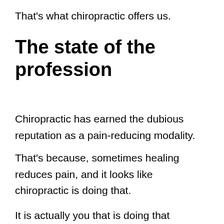That's what chiropractic offers us.
The state of the profession
Chiropractic has earned the dubious reputation as a pain-reducing modality.
That's because, sometimes healing reduces pain, and it looks like chiropractic is doing that.
It is actually you that is doing that